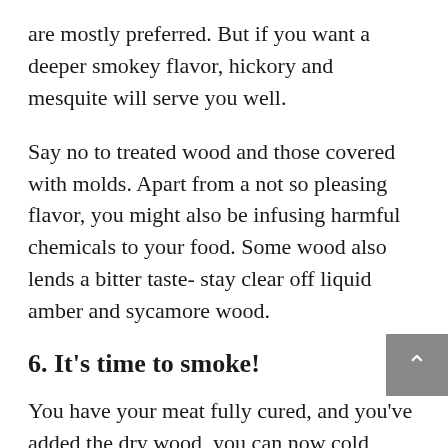are mostly preferred. But if you want a deeper smokey flavor, hickory and mesquite will serve you well.
Say no to treated wood and those covered with molds. Apart from a not so pleasing flavor, you might also be infusing harmful chemicals to your food. Some wood also lends a bitter taste- stay clear off liquid amber and sycamore wood.
6. It's time to smoke!
You have your meat fully cured, and you've added the dry wood, you can now cold smoke your meat.